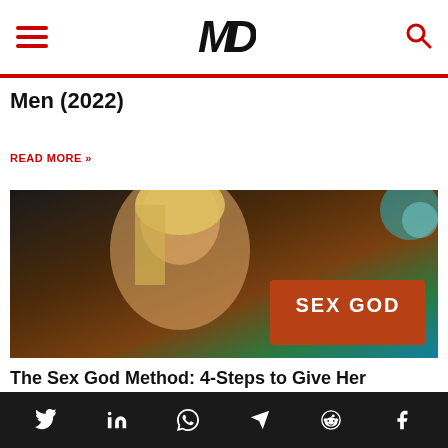MD [logo] navigation header with hamburger menu and search icon
Men (2022)
READ MORE »
[Figure (photo): Blonde woman looking over shoulder with 'SEX GOD' text overlay on an orange-red box]
The Sex God Method: 4-Steps to Give Her AMAZING Sex
READ MORE »
Social media icons: Twitter, LinkedIn, WhatsApp, Telegram, Reddit, Facebook